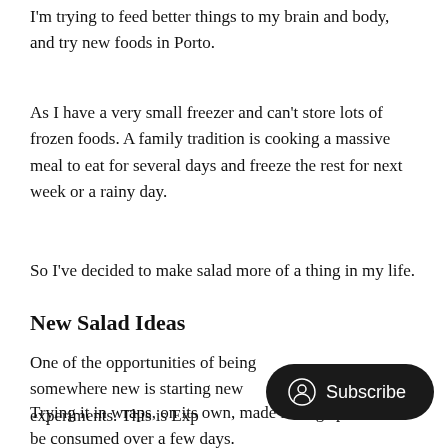I'm trying to feed better things to my brain and body, and try new foods in Porto.
As I have a very small freezer and can't store lots of frozen foods. A family tradition is cooking a massive meal to eat for several days and freeze the rest for next week or a rainy day.
So I've decided to make salad more of a thing in my life.
New Salad Ideas
One of the opportunities of being somewhere new is starting new experiments. This is Exp
Trying it in wraps, on its own, made in large portions to be consumed over a few days.